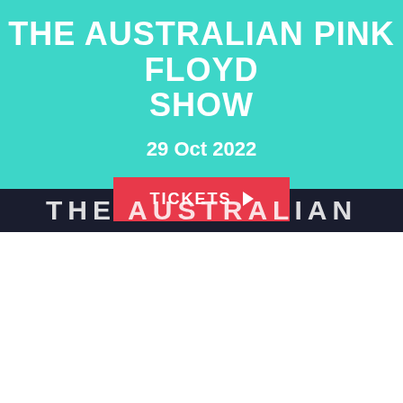THE AUSTRALIAN PINK FLOYD SHOW
29 Oct 2022
TICKETS ▶
THE AUSTRALIAN